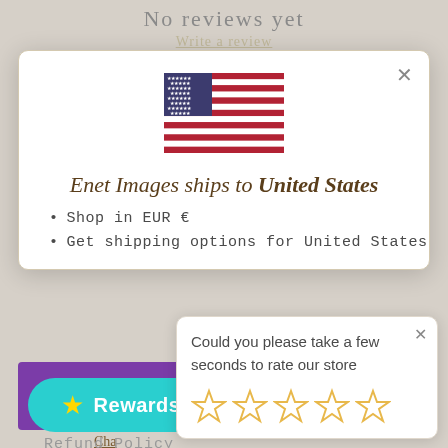No reviews yet
Write a review
[Figure (illustration): US flag emoji/illustration centered in modal]
Enet Images ships to United States
Shop in EUR €
Get shipping options for United States
[Figure (screenshot): Purple button (partially visible)]
Could you please take a few seconds to rate our store
[Figure (other): Five empty gold star rating icons]
Cha
Rewards
Refund Policy